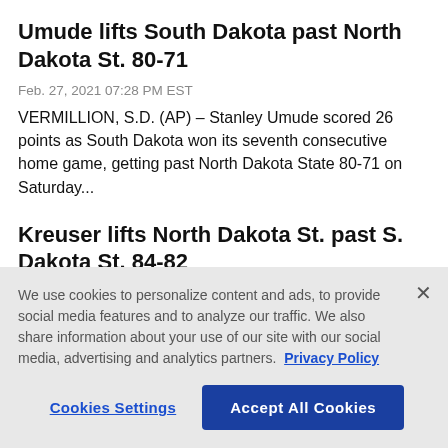Umude lifts South Dakota past North Dakota St. 80-71
Feb. 27, 2021 07:28 PM EST
VERMILLION, S.D. (AP) – Stanley Umude scored 26 points as South Dakota won its seventh consecutive home game, getting past North Dakota State 80-71 on Saturday...
Kreuser lifts North Dakota St. past S. Dakota St. 84-82
Feb. 20, 2021 11:03 PM EST
FARGO, N.D. (AP) – Rocky Kreuser had 17 points to lead six
We use cookies to personalize content and ads, to provide social media features and to analyze our traffic. We also share information about your use of our site with our social media, advertising and analytics partners. Privacy Policy
Cookies Settings | Accept All Cookies